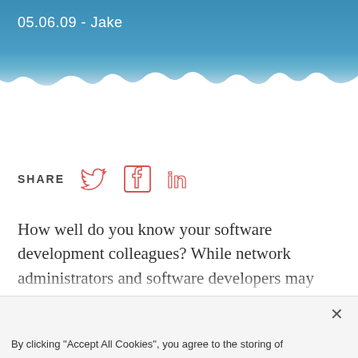05.06.09 - Jake
[Figure (infographic): Share bar with Twitter, Facebook, and LinkedIn icons in red/salmon outline style]
How well do you know your software development colleagues? While network administrators and software developers may seem like they speak different languages (how’s your Ruby on Rails?) understanding how
By clicking “Accept All Cookies”, you agree to the storing of